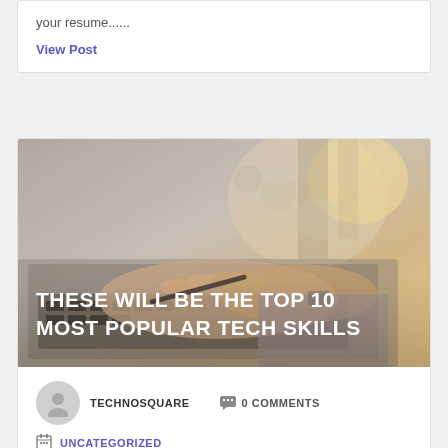your resume......
View Post
[Figure (photo): Person typing on a laptop keyboard, holding a pen, with a blurred city/window background and warm light. Text overlay reads THESE WILL BE THE TOP 10 MOST POPULAR TECH SKILLS]
THESE WILL BE THE TOP 10 MOST POPULAR TECH SKILLS
TECHNOSQUARE
0 COMMENTS
UNCATEGORIZED